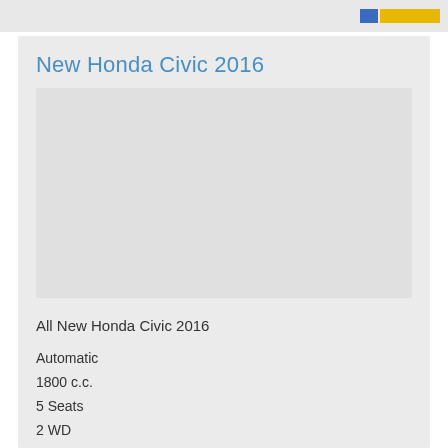New Honda Civic 2016
[Figure (photo): Car image area placeholder (light gray background)]
All New Honda Civic 2016
Automatic
1800 c.c.
5 Seats
2 WD